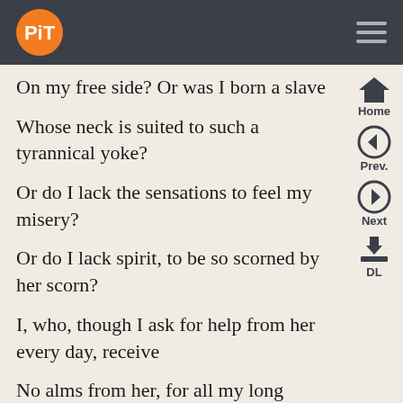PiT logo and navigation bar
On my free side? Or was I born a slave
Whose neck is suited to such a tyrannical yoke?
Or do I lack the sensations to feel my misery?
Or do I lack spirit, to be so scorned by her scorn?
I, who, though I ask for help from her every day, receive
No alms from her, for all my long loyalty, but scorn for my begging instead.
Virtue, rouse yourself: beauty is only beauty:
I may, I must, I can, I will, I do